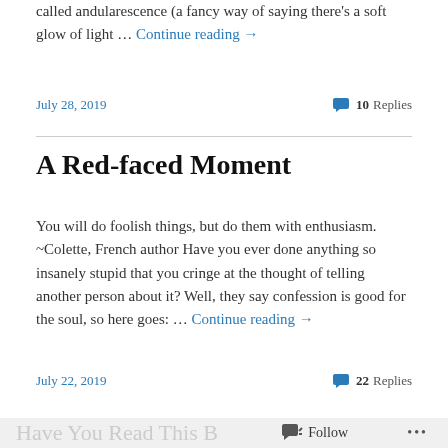called andularescence (a fancy way of saying there's a soft glow of light … Continue reading →
July 28, 2019
💬 10 Replies
A Red-faced Moment
You will do foolish things, but do them with enthusiasm. ~Colette, French author Have you ever done anything so insanely stupid that you cringe at the thought of telling another person about it? Well, they say confession is good for the soul, so here goes: … Continue reading →
July 22, 2019
💬 22 Replies
Have You Read This B… Follow …